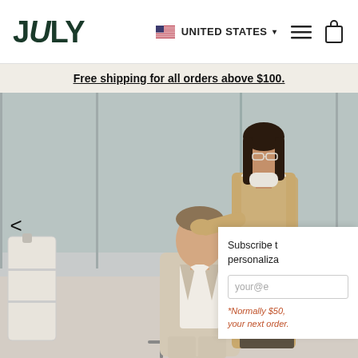JULY — UNITED STATES
Free shipping for all orders above $100.
[Figure (photo): Fashion photo of two models in neutral-toned outfits with white luggage in a modern office/airport setting. A man in a beige suit sits in an office chair, and a woman in a tan vest over white turtleneck stands behind him resting her hand on his shoulder. White suitcases are visible around them.]
Subscribe to personaliza
your@e
*Normally $50. your next order.